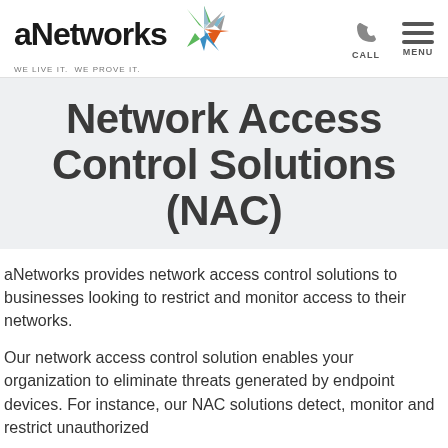[Figure (logo): aNetworks logo with colorful asterisk-like star graphic and tagline WE LIVE IT. WE PROVE IT.]
Network Access Control Solutions (NAC)
aNetworks provides network access control solutions to businesses looking to restrict and monitor access to their networks.
Our network access control solution enables your organization to eliminate threats generated by endpoint devices. For instance, our NAC solutions detect, monitor and restrict unauthorized